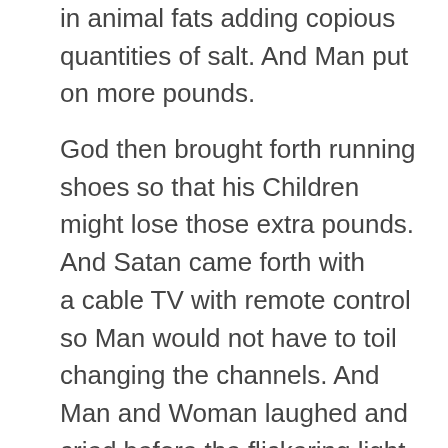in animal fats adding copious quantities of salt. And Man put on more pounds.
God then brought forth running shoes so that his Children might lose those extra pounds. And Satan came forth with a cable TV with remote control so Man would not have to toil changing the channels. And Man and Woman laughed and cried before the flickering light and started wearing stretch jogging suits.
God then gave lean beef so that Man might consume fewer calories and still satisfy his appetite. And Satan created McDonald's and the .99 pence double cheeseburger. Then Satan said "You want fries...